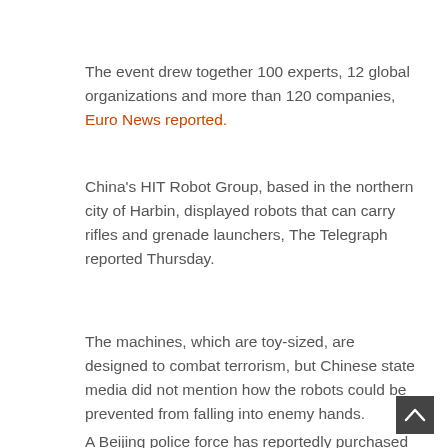The event drew together 100 experts, 12 global organizations and more than 120 companies, Euro News reported.
China's HIT Robot Group, based in the northern city of Harbin, displayed robots that can carry rifles and grenade launchers, The Telegraph reported Thursday.
The machines, which are toy-sized, are designed to combat terrorism, but Chinese state media did not mention how the robots could be prevented from falling into enemy hands.
A Beijing police force has reportedly purchased a set of the robots at $234,720 that includes a "reconnaissance" robot...